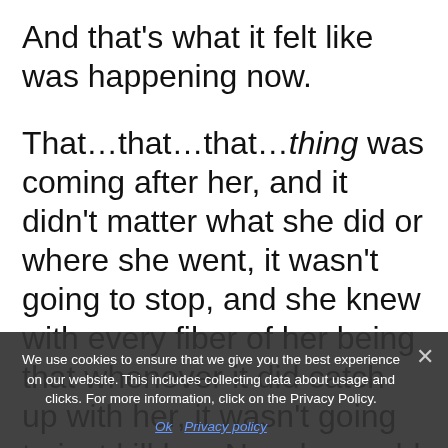And that's what it felt like was happening now.
That…that…that…thing was coming after her, and it didn't matter what she did or where she went, it wasn't going to stop, and she knew with every fiber of her being that whenever it did catch up with her, it wasn't going to just kill her. No, she could tell by the [cut off] was going to hurt… Glass broke from somewhere
We use cookies to ensure that we give you the best experience on our website. This includes collecting data about usage and clicks. For more information, click on the Privacy Policy.